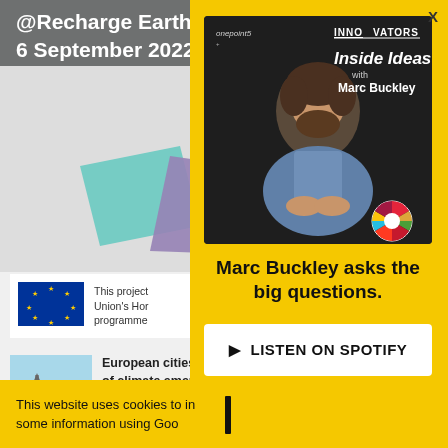@Recharge Earth
6 September 2022, Rotterdam (NL)
[Figure (illustration): Colorful geometric shapes in pink, teal, purple on gray background — EU event graphic]
[Figure (logo): EU flag (blue rectangle with gold stars circle)]
This project
Union's Hor
programme
[Figure (photo): Thumbnail photo of a hillside cityscape for European cities article]
European cities
of climate emer
This website uses cookies to in
some information using Goo
[Figure (screenshot): Podcast advertisement overlay on yellow background. Shows 'Inside Ideas with Marc Buckley' podcast cover — a man with curly hair and beard in a denim shirt, sitting casually. Logos: onepoint5 and INNOVATORS. SDG wheel icon bottom right.]
Marc Buckley asks the
big questions.
▶  LISTEN ON SPOTIFY